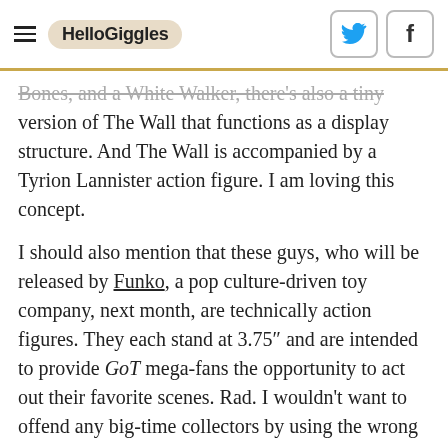HelloGiggles
Bones, and a White Walker, there's also a tiny version of The Wall that functions as a display structure. And The Wall is accompanied by a Tyrion Lannister action figure. I am loving this concept.
I should also mention that these guys, who will be released by Funko, a pop culture-driven toy company, next month, are technically action figures. They each stand at 3.75″ and are intended to provide GoT mega-fans the opportunity to act out their favorite scenes. Rad. I wouldn't want to offend any big-time collectors by using the wrong terminology. We all have our hobbies, you know?
[Figure (photo): Dark image with red dots/bokeh at top and partial white text at bottom reading partial word starting with 'W']